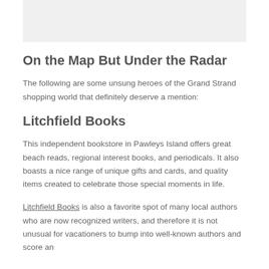On the Map But Under the Radar
The following are some unsung heroes of the Grand Strand shopping world that definitely deserve a mention:
Litchfield Books
This independent bookstore in Pawleys Island offers great beach reads, regional interest books, and periodicals. It also boasts a nice range of unique gifts and cards, and quality items created to celebrate those special moments in life.
Litchfield Books is also a favorite spot of many local authors who are now recognized writers, and therefore it is not unusual for vacationers to bump into well-known authors and score an